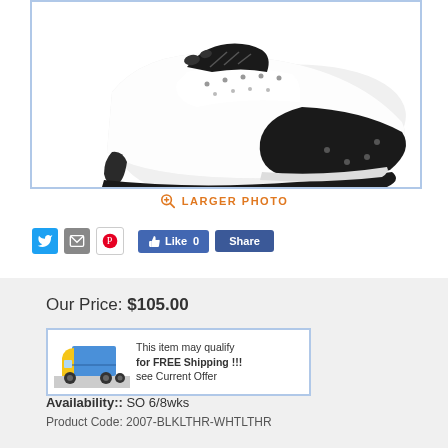[Figure (photo): Black and white two-tone high heel shoe (pump) with black toe cap and white body with perforation details]
LARGER PHOTO
[Figure (infographic): Facebook Like 0 and Share buttons, Twitter, email, and Pinterest social share icons]
Our Price: $105.00
[Figure (infographic): Delivery truck icon with text: This item may qualify for FREE Shipping !!! see Current Offer]
Availability:: SO 6/8wks
Product Code: 2007-BLKLTHR-WHTLTHR